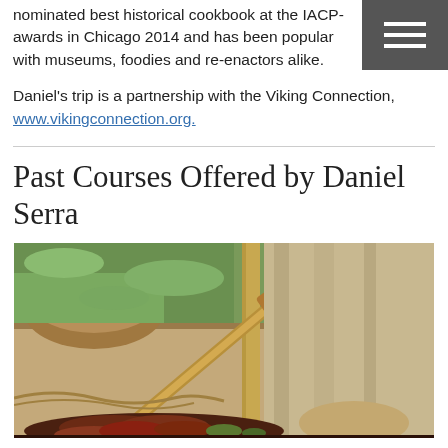nominated best historical cookbook at the IACP-awards in Chicago 2014 and has been popular with museums, foodies and re-enactors alike.
Daniel's trip is a partnership with the Viking Connection, www.vikingconnection.org.
Past Courses Offered by Daniel Serra
[Figure (photo): Outdoor scene showing a person in historical/medieval clothing preparing or handling meat over a pan, with a wooden bowl of vegetables and wooden implements visible on a table, green grass in the background.]